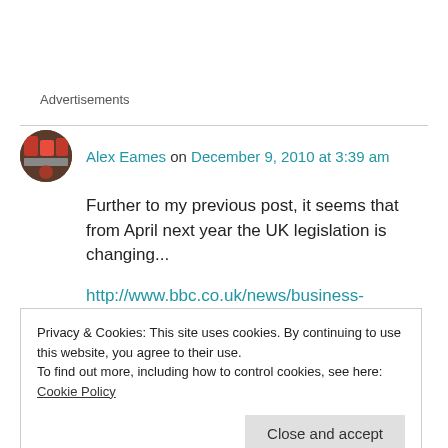Advertisements
Alex Eames on December 9, 2010 at 3:39 am
Further to my previous post, it seems that from April next year the UK legislation is changing...
http://www.bbc.co.uk/news/business-11949166
Privacy & Cookies: This site uses cookies. By continuing to use this website, you agree to their use.
To find out more, including how to control cookies, see here: Cookie Policy
Close and accept